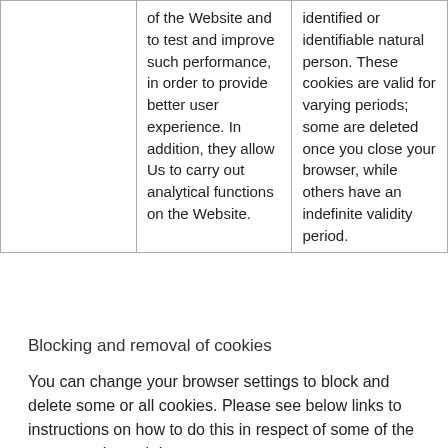|  | of the Website and to test and improve such performance, in order to provide better user experience. In addition, they allow Us to carry out analytical functions on the Website. | identified or identifiable natural person. These cookies are valid for varying periods; some are deleted once you close your browser, while others have an indefinite validity period. |
Blocking and removal of cookies
You can change your browser settings to block and delete some or all cookies. Please see below links to instructions on how to do this in respect of some of the most popular web browsers: